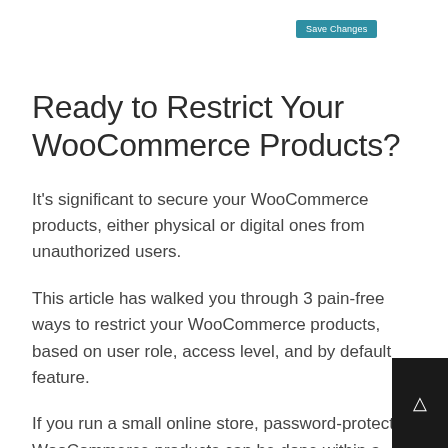[Figure (screenshot): A teal/blue 'Save Changes' button at top of page]
Ready to Restrict Your WooCommerce Products?
It’s significant to secure your WooCommerce products, either physical or digital ones from unauthorized users.
This article has walked you through 3 pain-free ways to restrict your WooCommerce products, based on user role, access level, and by default feature.
If you run a small online store, password-protect WooCommerce products can be done within a WordPress site thanks to its built-in visibility feature. Meanwhile, larger-scaled businesses are required to